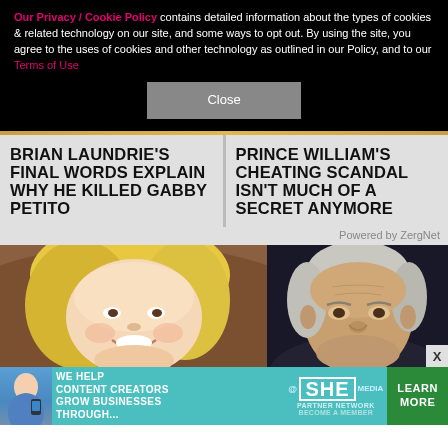Our Privacy / Cookie Policy contains detailed information about the types of cookies & related technology on our site, and some ways to opt out. By using the site, you agree to the uses of cookies and other technology as outlined in our Policy, and to our Terms of Use
Close
BRIAN LAUNDRIE'S FINAL WORDS EXPLAIN WHY HE KILLED GABBY PETITO
PRINCE WILLIAM'S CHEATING SCANDAL ISN'T MUCH OF A SECRET ANYMORE
Powered by ZergNet
[Figure (photo): Young blonde woman smiling, outdoor background]
[Figure (photo): Older grey-haired man against dark background]
[Figure (infographic): Advertisement: SHE Media Partner Network - We Help Content Creators Grow Businesses Through... Learn More]